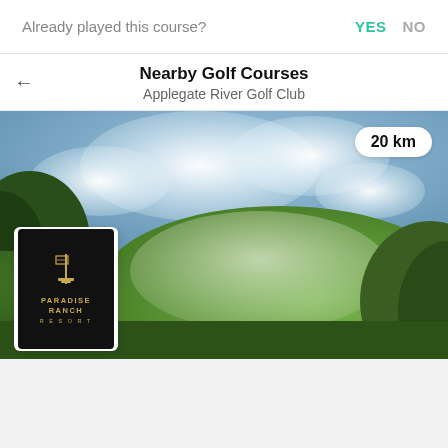Already played this course?
YES  NO
Nearby Golf Courses
Applegate River Golf Club
[Figure (photo): Golf course landscape photo with green fairways and blue sky, with a '20 km' distance badge overlay and a Paradise Ranch Resort logo card in the bottom left corner]